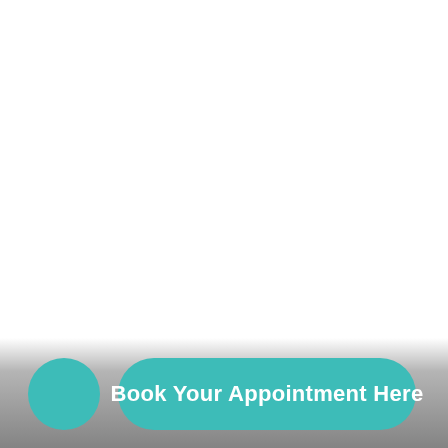[Figure (other): Teal circular icon on the left side of the bottom bar]
Book Your Appointment Here